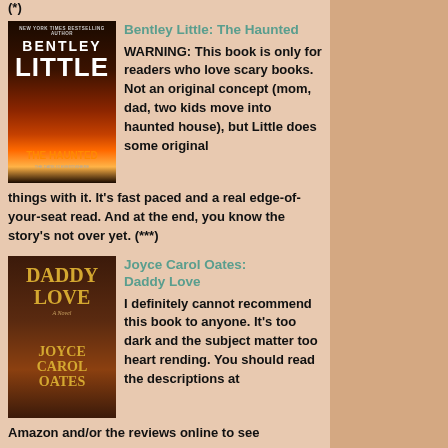(*)
[Figure (photo): Book cover of 'The Haunted' by Bentley Little, showing a burning house against a dark sky with orange flames]
Bentley Little: The Haunted
WARNING: This book is only for readers who love scary books. Not an original concept (mom, dad, two kids move into haunted house), but Little does some original things with it. It's fast paced and a real edge-of-your-seat read. And at the end, you know the story's not over yet. (***)
[Figure (photo): Book cover of 'Daddy Love' by Joyce Carol Oates, showing dark reddish-brown stripes with a pair of eyes peeking through]
Joyce Carol Oates: Daddy Love
I definitely cannot recommend this book to anyone. It's too dark and the subject matter too heart rending. You should read the descriptions at Amazon and/or the reviews online to see